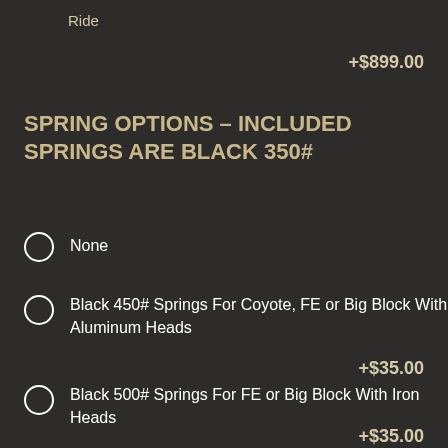Ride
+$899.00
SPRING OPTIONS – INCLUDED SPRINGS ARE BLACK 350#
None
Black 450# Springs For Coyote, FE or Big Block With Aluminum Heads
+$35.00
Black 500# Springs For FE or Big Block With Iron Heads
+$35.00